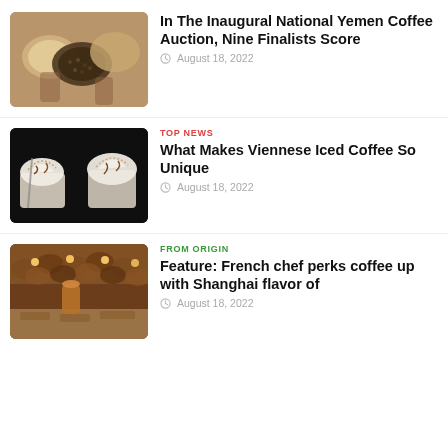[Figure (photo): Overhead view of hands holding bowls of coffee beans and grains]
In The Inaugural National Yemen Coffee Auction, Nine Finalists Score
August 18, 2022
[Figure (photo): Two Viennese iced coffees with whipped cream and chocolate drizzle on dark background]
TOP NEWS
What Makes Viennese Iced Coffee So Unique
August 18, 2022
[Figure (photo): Interior of a luxurious coffee shop with warm lighting and decorative ceiling]
FROM ORIGIN
Feature: French chef perks coffee up with Shanghai flavor of
August 18, 2022